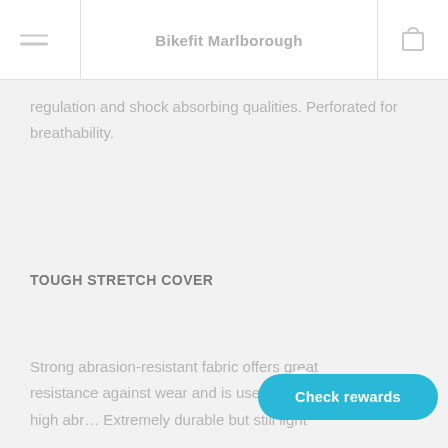Bikefit Marlborough
regulation and shock absorbing qualities. Perforated for breathability.
TOUGH STRETCH COVER
Strong abrasion-resistant fabric offers great resistance against wear and is used in areas prone to high abrasion. Extremely durable but still light